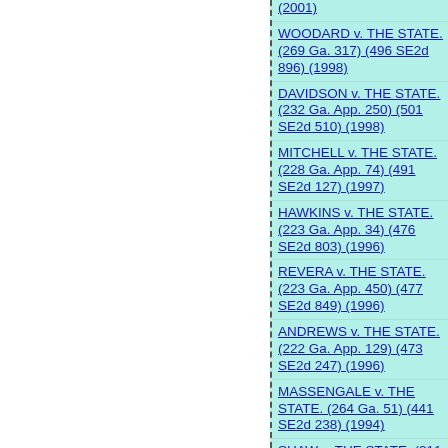(2001)
WOODARD v. THE STATE. (269 Ga. 317) (496 SE2d 896) (1998)
DAVIDSON v. THE STATE. (232 Ga. App. 250) (501 SE2d 510) (1998)
MITCHELL v. THE STATE. (228 Ga. App. 74) (491 SE2d 127) (1997)
HAWKINS v. THE STATE. (223 Ga. App. 34) (476 SE2d 803) (1996)
REVERA v. THE STATE. (223 Ga. App. 450) (477 SE2d 849) (1996)
ANDREWS v. THE STATE. (222 Ga. App. 129) (473 SE2d 247) (1996)
MASSENGALE v. THE STATE. (264 Ga. 51) (441 SE2d 238) (1994)
SHAW v. THE STATE. (211 Ga. App. 647) (440 SE2d 245) (1994)
GOODWIN v. THE STATE. (208 Ga. App. 707) (431 SE2d 473) (1993)